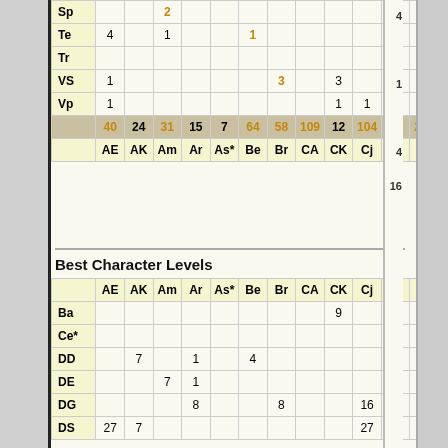|  | AE | AK | Am | Ar | As* | Be | Br | CA | CK | Cj | De | EE |
| --- | --- | --- | --- | --- | --- | --- | --- | --- | --- | --- | --- | --- |
| Sp |  |  | 2 |  |  |  |  |  |  |  |  |  |
| Te | 4 |  | 1 |  |  | 1 |  |  |  |  |  |  |
| Tr |  |  |  |  |  |  |  |  |  |  |  |  |
| VS | 1 |  |  |  |  |  | 3 |  | 3 |  |  |  |
| Vp | 1 |  |  |  |  |  |  |  | 1 | 1 |  |  |
|  | 40 | 24 | 31 | 15 | 7 | 64 | 58 | 109 | 12 | 104 | 33 | 211 |
|  | AE | AK | Am | Ar | As* | Be | Br | CA | CK | Cj | De | EE |
Best Character Levels
|  | AE | AK | Am | Ar | As* | Be | Br | CA | CK | Cj | De | EE |
| --- | --- | --- | --- | --- | --- | --- | --- | --- | --- | --- | --- | --- |
| Ba |  |  |  |  |  |  |  |  | 9 |  |  |  |
| Ce* |  |  |  |  |  |  |  |  |  |  |  |  |
| DD |  | 7 |  | 1 |  | 4 |  |  |  |  |  |  |
| DE |  |  | 7 | 1 |  |  |  |  |  |  |  |  |
| DG |  |  |  | 8 |  |  | 8 |  |  | 16 |  | 13 |
| DS | 27 | 7 |  |  |  |  |  |  |  | 27 |  | 27 |